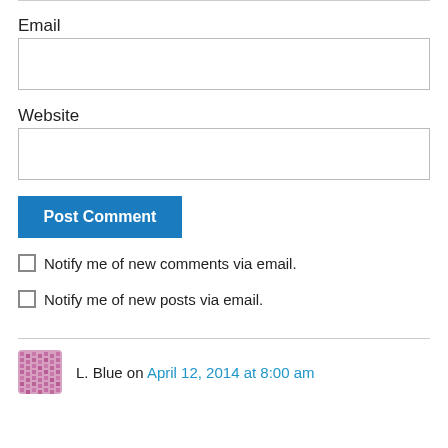Email
[Figure (other): Empty email input field]
Website
[Figure (other): Empty website input field]
Post Comment
Notify me of new comments via email.
Notify me of new posts via email.
L. Blue on April 12, 2014 at 8:00 am